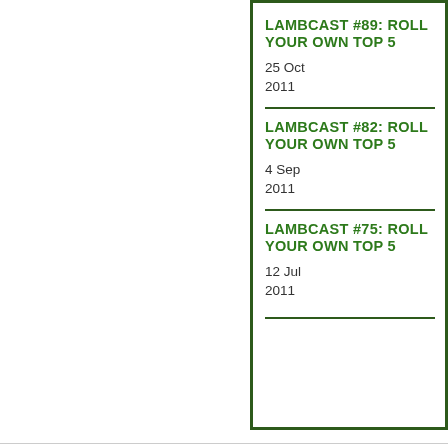LAMBCAST #89: ROLL YOUR OWN TOP 5
25 Oct 2011
LAMBCAST #82: ROLL YOUR OWN TOP 5
4 Sep 2011
LAMBCAST #75: ROLL YOUR OWN TOP 5
12 Jul 2011